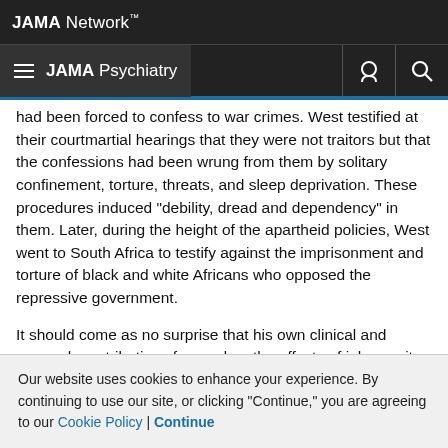JAMA Network
JAMA Psychiatry
had been forced to confess to war crimes. West testified at their courtmartial hearings that they were not traitors but that the confessions had been wrung from them by solitary confinement, torture, threats, and sleep deprivation. These procedures induced "debility, dread and dependency" in them. Later, during the height of the apartheid policies, West went to South Africa to testify against the imprisonment and torture of black and white Africans who opposed the repressive government.
It should come as no surprise that his own clinical and research contributions focused on the effects of inhumanity, sleep
Our website uses cookies to enhance your experience. By continuing to use our site, or clicking "Continue," you are agreeing to our Cookie Policy | Continue